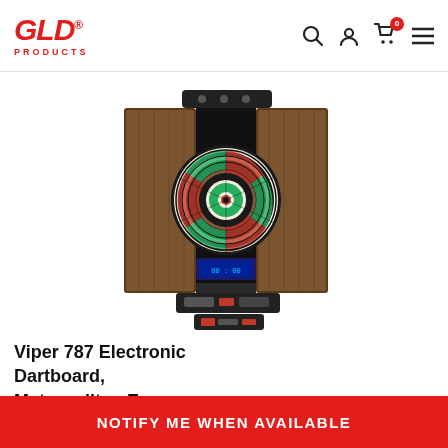GLD PRODUCTS
[Figure (photo): Viper 787 Electronic Dartboard with Metropolitan Espresso Cabinet open, showing dartboard, display panel, and dart holder at top. Black mounting bracket above and storage tray below.]
Viper 787 Electronic Dartboard, Metropolitan Espresso Cabinet, Laser Throw Line & Shadow Buster...
NOTIFY ME WHEN AVAILABLE